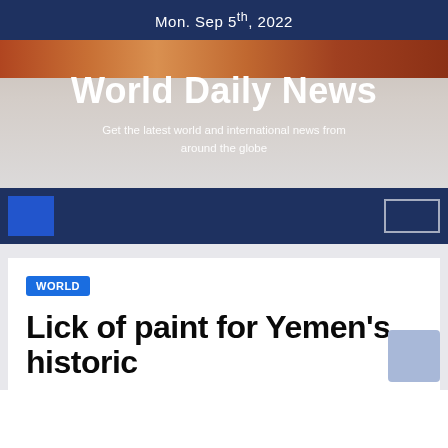Mon. Sep 5th, 2022
World Daily News
Get the latest world and international news from around the globe
[Figure (screenshot): Navigation bar with blue square button and search box on dark navy background]
WORLD
Lick of paint for Yemen's historic